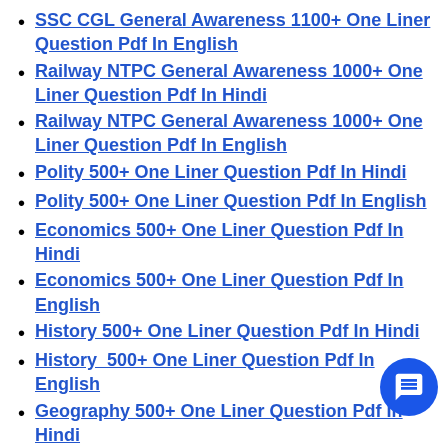SSC CGL General Awareness 1100+ One Liner Question Pdf In English
Railway NTPC General Awareness 1000+ One Liner Question Pdf In Hindi
Railway NTPC General Awareness 1000+ One Liner Question Pdf In English
Polity 500+ One Liner Question Pdf In Hindi
Polity 500+ One Liner Question Pdf In English
Economics 500+ One Liner Question Pdf In Hindi
Economics 500+ One Liner Question Pdf In English
History 500+ One Liner Question Pdf In Hindi
History  500+ One Liner Question Pdf In English
Geography 500+ One Liner Question Pdf In Hindi
Geography 500+ One Liner Question Pdf In English
Chemistry 500+ One Liner Question Pdf In Hindi